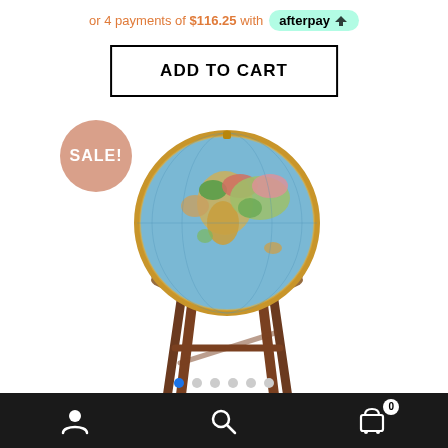or 4 payments of $116.25 with afterpay
ADD TO CART
[Figure (photo): A decorative floor-standing globe with a blue ocean surface showing continents in various colors, mounted on a brown wooden stand with four legs. A circular salmon/pink 'SALE!' badge is overlaid in the upper-left of the product image.]
Carousel navigation dots: 6 dots, first one active (blue)
Navigation bar with user icon, search icon, and cart icon with badge '0'